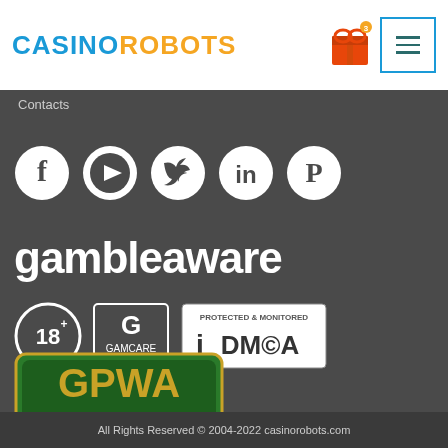CASINO ROBOTS
Contacts
[Figure (logo): Social media icons: Facebook, YouTube, Twitter, LinkedIn, Pinterest]
gambleaware
[Figure (logo): 18+ badge, GamCare logo, DMCA Protected & Monitored badge]
[Figure (logo): GPWA Approved Portal badge]
All Rights Reserved © 2004-2022 casinorobots.com